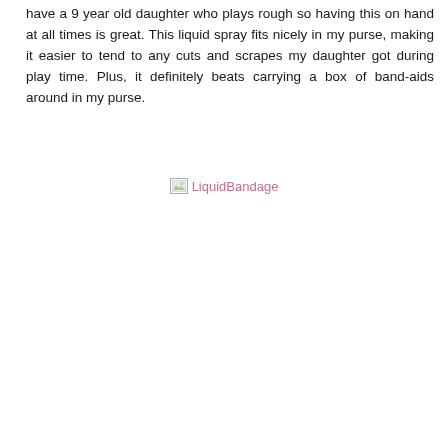have a 9 year old daughter who plays rough so having this on hand at all times is great. This liquid spray fits nicely in my purse, making it easier to tend to any cuts and scrapes my daughter got during play time. Plus, it definitely beats carrying a box of band-aids around in my purse.
[Figure (photo): Broken image placeholder labeled 'LiquidBandage']